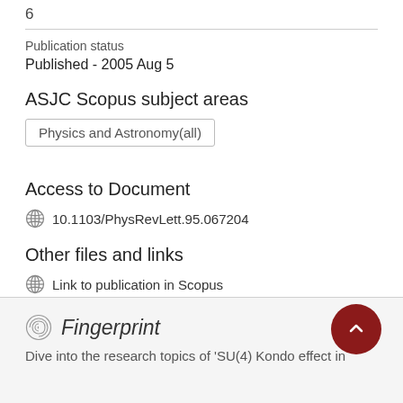6
Publication status
Published - 2005 Aug 5
ASJC Scopus subject areas
Physics and Astronomy(all)
Access to Document
10.1103/PhysRevLett.95.067204
Other files and links
Link to publication in Scopus
Fingerprint
Dive into the research topics of 'SU(4) Kondo effect in